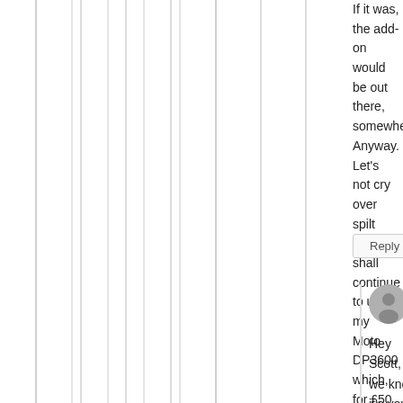If it was, the add-on would be out there, somewhere.
Anyway. Let's not cry over spilt milk. I'll shall continue to use my Moto DP3600 which, for £50 does what I need it to do. The only frustrating thing is I can't programme BP and EP channels into the radio at the same time. Its one of the other.

Oh well. Thanks again and yes, I totally agree that I'm an obnoxious prick. 👍
Reply
SEPTEMBER 30, 2021 - 10:12 AM
Anonymous
Hey Scott, we know it's you.
Let it go man …
(And that attitude won't get you many answers)